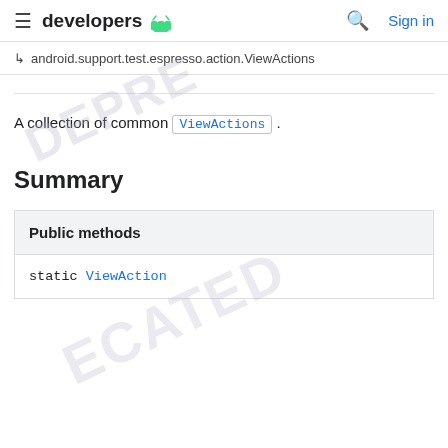≡ developers 🤖  🔍  Sign in
↳ android.support.test.espresso.action.ViewActions
A collection of common ViewActions .
Summary
| Public methods |
| --- |
| static ViewAction |